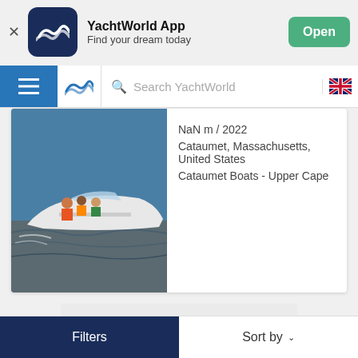[Figure (screenshot): YachtWorld App banner with dark navy icon showing wave logo, app name, tagline, and green Open button]
YachtWorld App
Find your dream today
[Figure (screenshot): Navigation bar with hamburger menu, YachtWorld logo, search field, and UK flag icon]
Search YachtWorld
[Figure (photo): A white motorboat with passengers on open water]
NaN m / 2022
Cataumet, Massachusetts, United States
Cataumet Boats - Upper Cape
Filters
Sort by